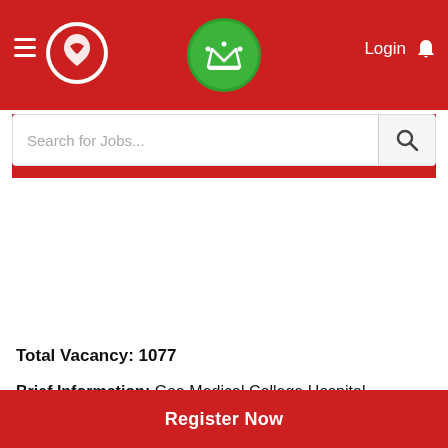Navigation bar with hamburger menu, logo, crown badge, Login, and notification bell
Search for Jobs...
Total Vacancy: 1077
Brief Information: Goa Medical College Hospital, Bambolim has announced a notification for the recruitment of Staff Nurse, Jr
Register Now